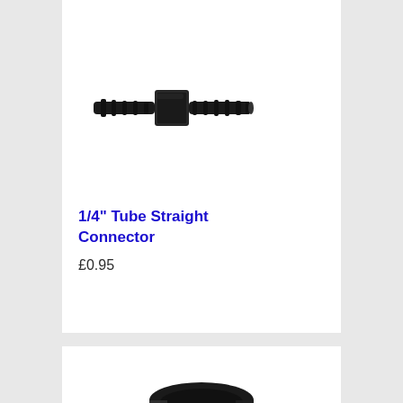[Figure (photo): A black plastic 1/4 inch tube straight connector fitting, viewed from the side showing barbed ends on both sides with a square center body.]
1/4" Tube Straight Connector
£0.95
[Figure (photo): A short dark grey/black cylindrical tube fitting or end cap, viewed from a slight angle showing the hollow open end.]